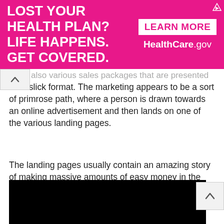[Figure (other): Advertisement banner: 'LOST YOUR HEALTH PLAN? LIFE HAPPENS. GET COVERED.' with 'LEARN MORE HealthCare.gov' on pink/magenta background]
...also various sales packages that are presented ultra-slick format. The marketing appears to be a sort of primrose path, where a person is drawn towards an online advertisement and then lands on one of the various landing pages.
The landing pages usually contain an amazing story of making massive amounts of easy money in the Forex markets. All a person needs to do is use the magic trading software and simply “push the button” and profits will begin to appear. The following are a couple of the video’s that speak of easy profits for everyone involved.
[Figure (other): Black video player placeholder]